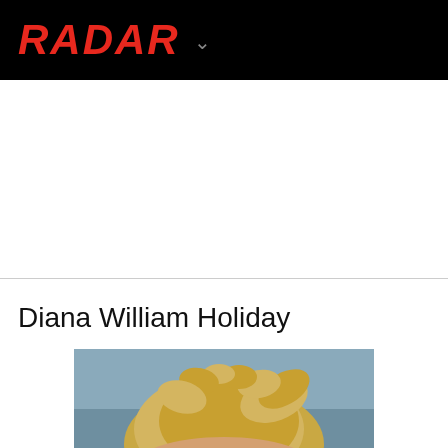RADAR
Diana William Holiday
[Figure (photo): Photo of a person with blond wavy hair against a blue-grey sky background]